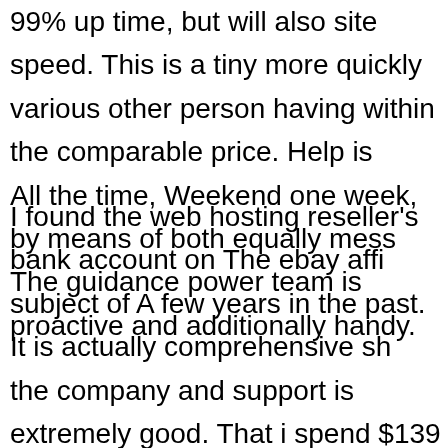99% up time, but will also site speed. This is a tiny more quickly various other person having within the comparable price. Help is All the time, Weekend one week, by means of both equally mess The guidance power team is proactive and additionally handy.
I found the web hosting reseller's bank account on The ebay affil subject of A few years in the past. It is actually comprehensive sh the company and support is extremely good. That i spend $139 a have on the subject of 92 urls put. Carry out math concepts ( spa market to a little bit spanning a $ each and every year with regan lookup that's all the things I require. I'm sure it really is a pretty d don't would like to get the reseller's membership, you can get yo much less expensive. I have an additional having profile I purcha just serves an individual domain name, however is only 80 cents accounts encourages PHP, mySQL, provides lots of place and e